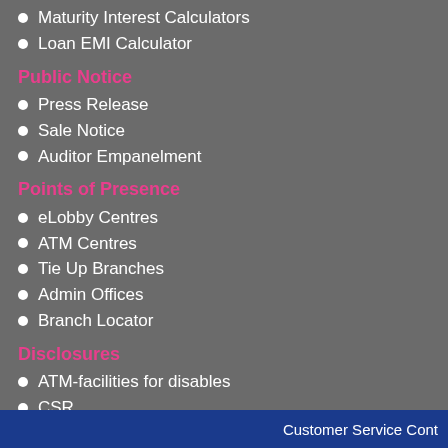Maturity Interest Calculators
Loan EMI Calculator
Public Notice
Press Release
Sale Notice
Auditor Empanelment
Points of Presence
eLobby Centres
ATM Centres
Tie Up Branches
Admin Offices
Branch Locator
Disclosures
ATM-facilities for disables
CSR
Unclaimed Deposits
Downloads & Forms
External Links
Bank Holidays
RTCS/NEFT/MICR Codes
Customer Service Cont